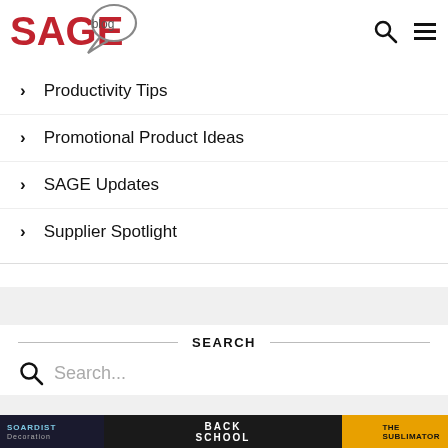[Figure (logo): SAGE Blog logo with speech bubble]
Productivity Tips
Promotional Product Ideas
SAGE Updates
Supplier Spotlight
SEARCH
Search...
[Figure (photo): Advertisement banner for Soardist / Back to School / Sublimator]